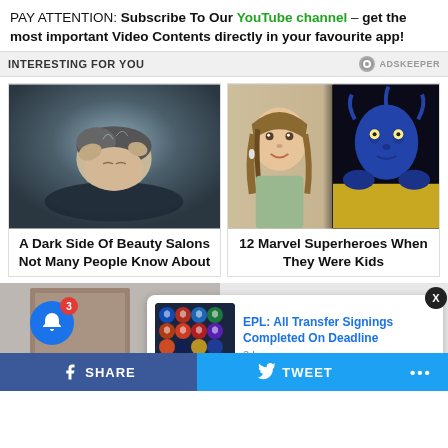PAY ATTENTION: Subscribe To Our YouTube channel – get the most important Video Contents directly in your favourite app!
INTERESTING FOR YOU
[Figure (photo): Woman getting hair washed at salon]
A Dark Side Of Beauty Salons Not Many People Know About
[Figure (photo): Marvel superhero then and now – young girl and blue alien character]
12 Marvel Superheroes When They Were Kids
[Figure (screenshot): EPL notification popup with football team badges]
EPL: All Transfer Signings Completed On Deadline
3 hours ago
SHARE
TWEET